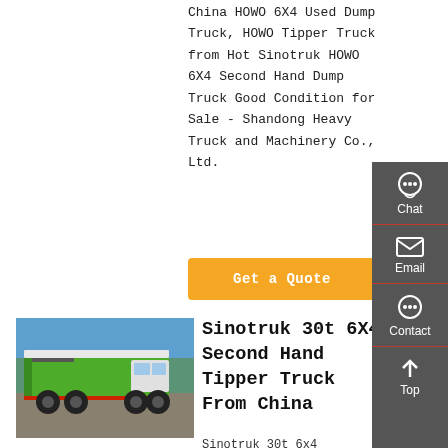China HOWO 6X4 Used Dump Truck, HOWO Tipper Truck from Hot Sinotruk HOWO 6X4 Second Hand Dump Truck Good Condition for Sale - Shandong Heavy Truck and Machinery Co., Ltd.
Get a Quote
[Figure (photo): Green Sinotruk HOWO 6x4 dump/tipper truck parked outdoors against a blue sky background]
Sinotruk 30t 6X4 Second Hand Tipper Truck From China
Sinotruk 30t 6x4 Second...